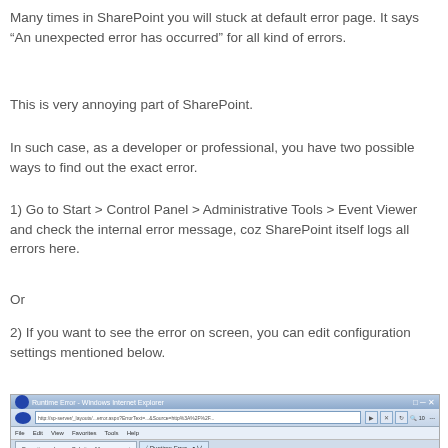Many times in SharePoint you will stuck at default error page. It says “An unexpected error has occurred” for all kind of errors.
This is very annoying part of SharePoint.
In such case, as a developer or professional, you have two possible ways to find out the exact error.
1) Go to Start > Control Panel > Administrative Tools > Event Viewer and check the internal error message, coz SharePoint itself logs all errors here.
Or
2) If you want to see the error on screen, you can edit configuration settings mentioned below.
[Figure (screenshot): Screenshot of Windows Internet Explorer browser showing a SharePoint Runtime Error page with browser chrome including title bar, menu bar, toolbar with address bar, and status bar.]